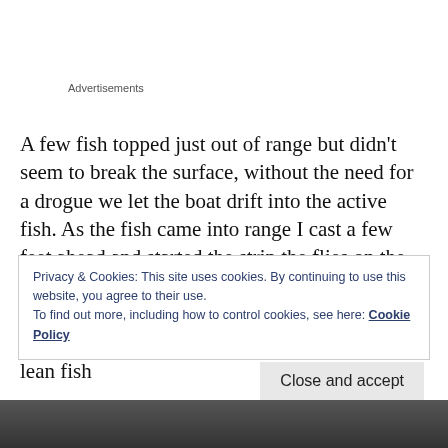Advertisements
A few fish topped just out of range but didn't seem to break the surface, without the need for a drogue we let the boat drift into the active fish. As the fish came into range I cast a few feet ahead and started the strip the flies on the surface, within seconds a bow wave appeared behind the flies and the sixth sense slow glass locked up tight. A decent scrap and the long, lean fish
Privacy & Cookies: This site uses cookies. By continuing to use this website, you agree to their use.
To find out more, including how to control cookies, see here: Cookie Policy
Close and accept
[Figure (photo): Partial view of a person at the bottom of the page]